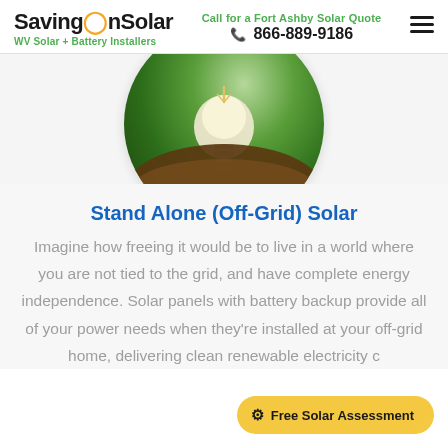SavingOnSolar — WV Solar + Battery Installers | Call for a Fort Ashby Solar Quote 866-889-9186
[Figure (photo): Circular cropped photo of a light bulb planted in soil with green bokeh background]
Stand Alone (Off-Grid) Solar
Imagine how freeing it would be to live in a world where you are not tied to the grid, and have complete energy independence. Solar panels with battery backup provide all of your power needs when they're installed at your off-grid home, delivering clean renewable electricity c...
Free Solar Assessment